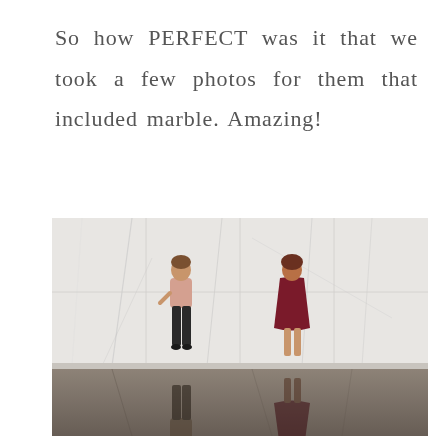So how PERFECT was it that we took a few photos for them that included marble. Amazing!
[Figure (photo): Two young women standing against a large white marble wall. One on the left wears a pink top and black pants, the other on the right wears a dark red/maroon dress. Their reflections are visible in the dark reflective floor below.]